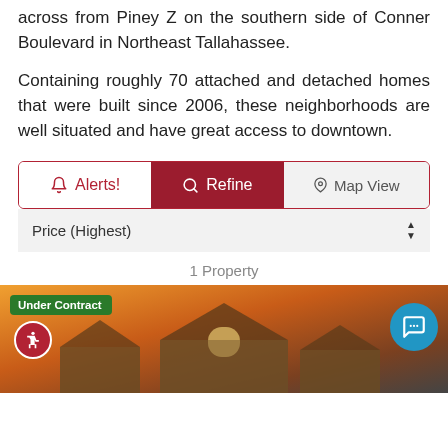across from Piney Z on the southern side of Conner Boulevard in Northeast Tallahassee.
Containing roughly 70 attached and detached homes that were built since 2006, these neighborhoods are well situated and have great access to downtown.
[Figure (screenshot): UI control bar with three buttons: Alerts! (outlined red), Refine (solid dark red), Map View (grey), and a Price (Highest) sort dropdown below]
1 Property
[Figure (photo): House exterior photo at sunset showing rooflines. Overlaid with Under Contract green badge, wheelchair accessibility icon in red circle, and blue chat button.]